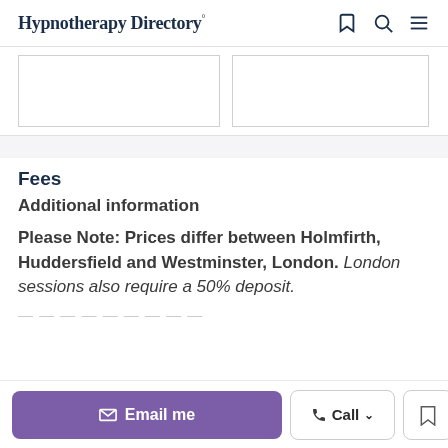Hypnotherapy Directory
[Figure (other): Two image placeholder boxes side by side]
Fees
Additional information
Please Note: Prices differ between Holmfirth, Huddersfield and Westminster, London. London sessions also require a 50% deposit.